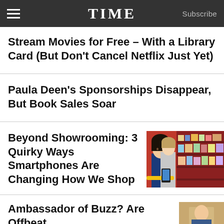TIME  Subscribe
Stream Movies for Free – With a Library Card (But Don't Cancel Netflix Just Yet)
Paula Deen's Sponsorships Disappear, But Book Sales Soar
Beyond Showrooming: 3 Quirky Ways Smartphones Are Changing How We Shop
[Figure (photo): Two people in a grocery store aisle looking at a smartphone]
Ambassador of Buzz? Are Offbeat